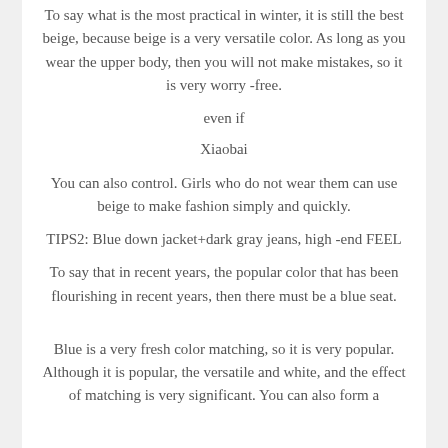To say what is the most practical in winter, it is still the best beige, because beige is a very versatile color. As long as you wear the upper body, then you will not make mistakes, so it is very worry -free.
even if
Xiaobai
You can also control. Girls who do not wear them can use beige to make fashion simply and quickly.
TIPS2: Blue down jacket+dark gray jeans, high -end FEEL
To say that in recent years, the popular color that has been flourishing in recent years, then there must be a blue seat.
Blue is a very fresh color matching, so it is very popular. Although it is popular, the versatile and white, and the effect of matching is very significant. You can also form a